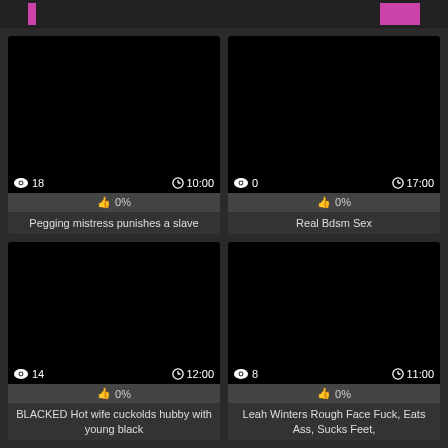[Figure (screenshot): Video thumbnail (black) with 18 views and 10:00 duration, 0% rating]
Pegging mistress punishes a slave
[Figure (screenshot): Video thumbnail (black) with 0 views and 17:00 duration, 0% rating]
Real Bdsm Sex
[Figure (screenshot): Video thumbnail (black) with 14 views and 12:00 duration, 0% rating]
BLACKED Hot wife cuckolds hubby with young black
[Figure (screenshot): Video thumbnail (black) with 8 views and 11:00 duration, 0% rating]
Leah Winters Rough Face Fuck, Eats Ass, Sucks Feet,